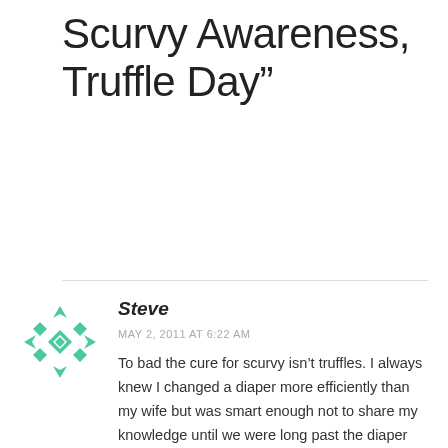Scurvy Awareness, Truffle Day”
[Figure (illustration): Green decorative avatar icon made of diamond and arrow shapes arranged in a cross/fleur pattern]
Steve
MAY 2, 2011 AT 6:22 AM
To bad the cure for scurvy isn’t truffles. I always knew I changed a diaper more efficiently than my wife but was smart enough not to share my knowledge until we were long past the diaper years.
Have a great day!